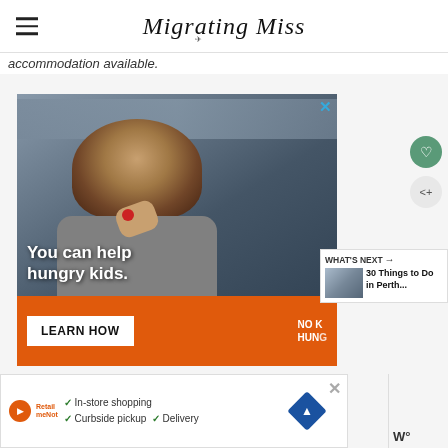Migrating Miss
accommodation available.
[Figure (photo): Advertisement showing a child eating with text 'You can help hungry kids.' and 'LEARN HOW' button on orange bar with No Kid Hungry logo]
[Figure (photo): WHAT'S NEXT panel showing 30 Things to Do in Perth...]
[Figure (infographic): Bottom advertisement with checklist: In-store shopping, Curbside pickup, Delivery with navigation icon]